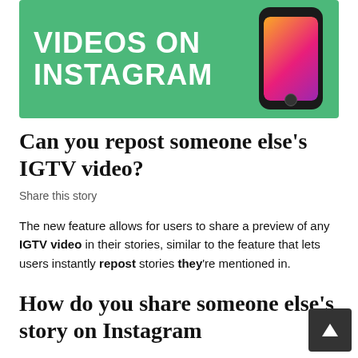[Figure (illustration): Green banner with white bold text reading 'VIDEOS ON INSTAGRAM' and an illustrated smartphone with Instagram gradient on screen]
Can you repost someone else’s IGTV video?
Share this story
The new feature allows for users to share a preview of any IGTV video in their stories, similar to the feature that lets users instantly repost stories they’re mentioned in.
How do you share someone else’s story on Instagram